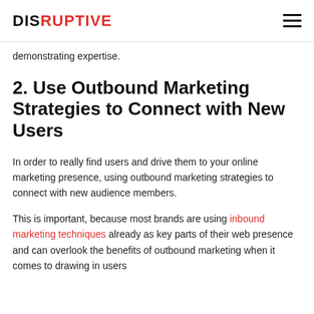DISRUPTIVE
demonstrating expertise.
2. Use Outbound Marketing Strategies to Connect with New Users
In order to really find users and drive them to your online marketing presence, using outbound marketing strategies to connect with new audience members.
This is important, because most brands are using inbound marketing techniques already as key parts of their web presence and can overlook the benefits of outbound marketing when it comes to drawing in users